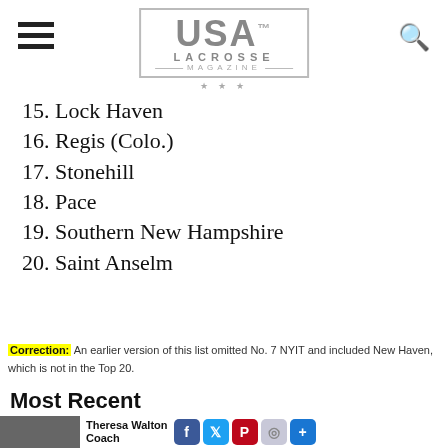USA Lacrosse Magazine
15. Lock Haven
16. Regis (Colo.)
17. Stonehill
18. Pace
19. Southern New Hampshire
20. Saint Anselm
Correction: An earlier version of this list omitted No. 7 NYIT and included New Haven, which is not in the Top 20.
Most Recent
Theresa Walton Coach